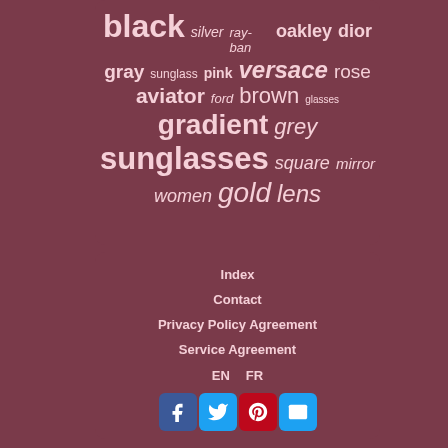[Figure (infographic): Word cloud of sunglasses-related keywords on a mauve/dark rose background. Words include: black (largest, bold), silver, ray-ban, oakley, dior, gray, sunglass, pink, versace, rose, aviator, ford, brown, glasses, gradient, grey, sunglasses (very large), square, mirror, women, gold, lens]
Index
Contact
Privacy Policy Agreement
Service Agreement
EN   FR
[Figure (infographic): Social media icon buttons: Facebook (blue), Twitter (light blue), Pinterest (red), Email/envelope (light blue)]